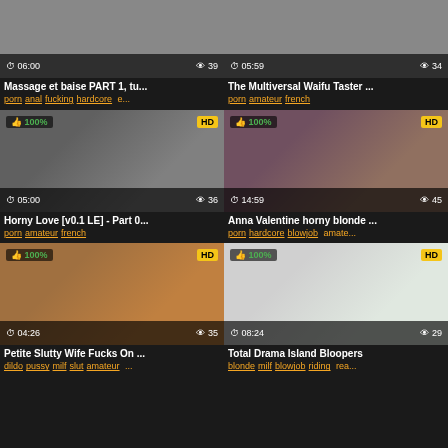[Figure (screenshot): Video thumbnail grid showing 6 adult video cards in a 2-column layout with titles and tags]
Massage et baise PART 1, tu...
porn anal fucking hardcore e...
The Multiversal Waifu Taster ...
porn amateur french
Horny Love [v0.1 LE] - Part 0...
porn amateur french
Anna Valentine horny blonde ...
porn hardcore blowjob amate...
Petite Slutty Wife Fucks On ...
dildo pussy milf slut amateur ...
Total Drama Island Bloopers
blonde milf blowjob riding rea...